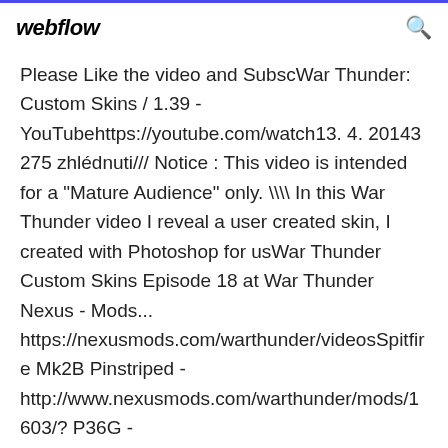webflow
Please Like the video and SubscWar Thunder: Custom Skins / 1.39 - YouTubehttps://youtube.com/watch13. 4. 20143 275 zhlédnuti/// Notice : This video is intended for a "Mature Audience" only. \\ In this War Thunder video I reveal a user created skin, I created with Photoshop for usWar Thunder Custom Skins Episode 18 at War Thunder Nexus - Mods... https://nexusmods.com/warthunder/videosSpitfire Mk2B Pinstriped - http://www.nexusmods.com/warthunder/mods/1603/? P36G - Pathaberhttp://live.warthunder.com/post/134789/Mira_ - P-47D Thunderbolthttp://live.warthunder